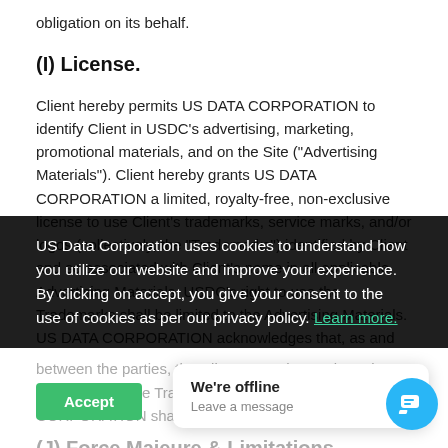obligation on its behalf.
(I) License.
Client hereby permits US DATA CORPORATION to identify Client in USDC’s advertising, marketing, promotional materials, and on the Site (“Advertising Materials”). Client hereby grants US DATA CORPORATION a limited, royalty-free, non-exclusive license to use Client’s trademarks, service marks, and/or logos (collectively, the “Trademarks”) identified by Client and so associated with Client’s name in all applicable Advertising Materials. USDC’s right to use the Trademarks shall be limited to the Advertising Materials. US DATA CORPORATION acknowledges that, as and between the parties, the Client owns the Trademarks, and all use of the Trademarks by US DATA CORPORATION shall inure to the benefit of the Client.
(J) Force Majeure & Limitations.
Each party shall be excused from performance of its duties and obligations for any period during which that party and/or its personnel shall be